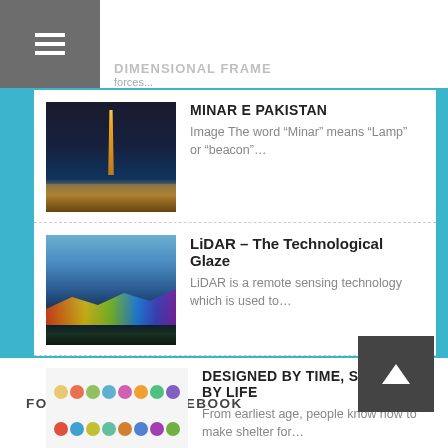DIMENSIONAL FRAME
forces...
MINAR E PAKISTAN
Image The word “Minar” means “Lamp” or “beacon”…
LiDAR – The Technological Glaze
LiDAR is a remote sensing technology which is used to…
DESIGNED BY TIME, SHAPED BY LIFE
From earliest age, people know how to make shelter for…
FOLLOW US ON FACEBOOK